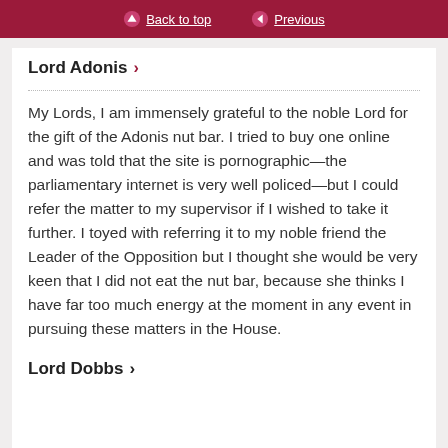Back to top | Previous
Lord Adonis
My Lords, I am immensely grateful to the noble Lord for the gift of the Adonis nut bar. I tried to buy one online and was told that the site is pornographic—the parliamentary internet is very well policed—but I could refer the matter to my supervisor if I wished to take it further. I toyed with referring it to my noble friend the Leader of the Opposition but I thought she would be very keen that I did not eat the nut bar, because she thinks I have far too much energy at the moment in any event in pursuing these matters in the House.
Lord Dobbs